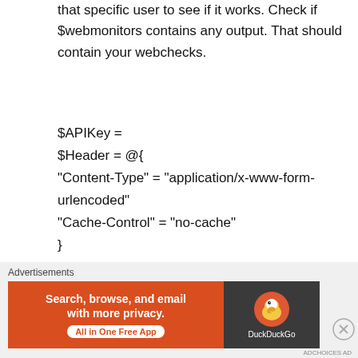that specific user to see if it works. Check if $webmonitors contains any output. That should contain your webchecks.
$APIKey =
$Header = @{
"Content-Type" = "application/x-www-form-urlencoded"
"Cache-Control" = "no-cache"
}

$body = @{
"api_key" = $APIKey
Advertisements
[Figure (other): DuckDuckGo advertisement banner: orange left panel with text 'Search, browse, and email with more privacy.' and 'All in One Free App' button; dark right panel with DuckDuckGo duck logo and brand name.]